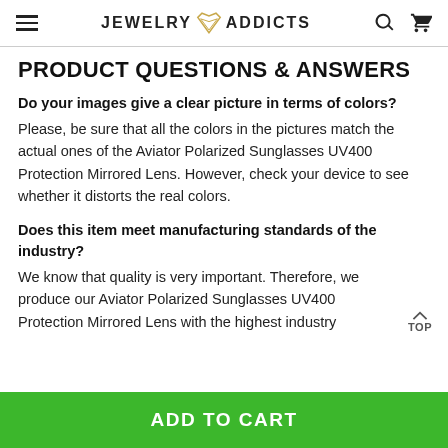JEWELRY ADDICTS
PRODUCT QUESTIONS & ANSWERS
Do your images give a clear picture in terms of colors? Please, be sure that all the colors in the pictures match the actual ones of the Aviator Polarized Sunglasses UV400 Protection Mirrored Lens. However, check your device to see whether it distorts the real colors.
Does this item meet manufacturing standards of the industry? We know that quality is very important. Therefore, we produce our Aviator Polarized Sunglasses UV400 Protection Mirrored Lens with the highest industry
ADD TO CART